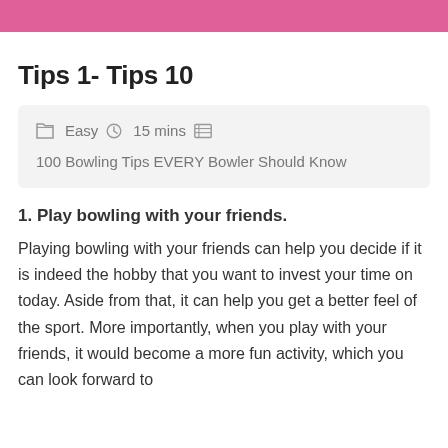Tips 1- Tips 10
Easy  15 mins  100 Bowling Tips EVERY Bowler Should Know
1. Play bowling with your friends.
Playing bowling with your friends can help you decide if it is indeed the hobby that you want to invest your time on today. Aside from that, it can help you get a better feel of the sport. More importantly, when you play with your friends, it would become a more fun activity, which you can look forward to